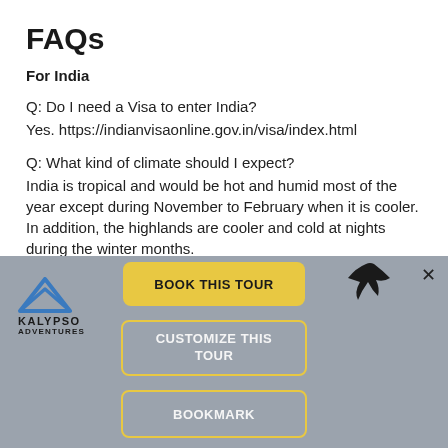FAQs
For India
Q: Do I need a Visa to enter India?
Yes. https://indianvisaonline.gov.in/visa/index.html
Q: What kind of climate should I expect?
India is tropical and would be hot and humid most of the year except during November to February when it is cooler. In addition, the highlands are cooler and cold at nights during the winter months.
Q: Are tour dates flexible?
Yes.
Q: What are the...
[Figure (screenshot): Bottom overlay with Kalypso Adventures logo, bird icon, close button X, Book This Tour button (yellow), Customize This Tour button (outlined), and Bookmark button (outlined)]